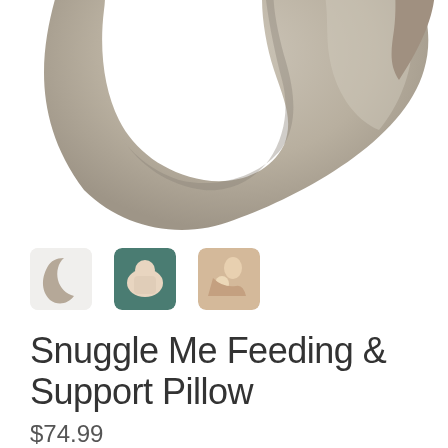[Figure (photo): Main product image: crescent moon-shaped feeding support pillow in beige/taupe fabric, shown from above on white background, partially cropped at top]
[Figure (photo): Thumbnail 1: crescent-shaped pillow icon in taupe on light background]
[Figure (photo): Thumbnail 2: photo of baby lying with pillow on teal/green background]
[Figure (photo): Thumbnail 3: photo of person holding/feeding baby with pillow, warm tones]
Snuggle Me Feeding & Support Pillow
$74.99